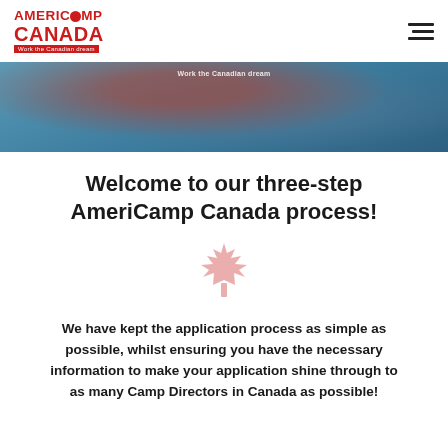[Figure (logo): AmeriCamp Canada logo with red text and tagline 'Work the Canadian dream']
[Figure (photo): Hero banner photo showing person in red shirt canoeing on blue water with 'Work the Canadian dream' text overlay]
Welcome to our three-step AmeriCamp Canada process!
[Figure (illustration): Pink maple leaf icon]
We have kept the application process as simple as possible, whilst ensuring you have the necessary information to make your application shine through to as many Camp Directors in Canada as possible!